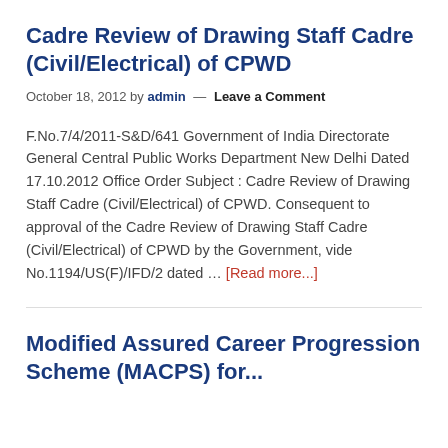Cadre Review of Drawing Staff Cadre (Civil/Electrical) of CPWD
October 18, 2012 by admin — Leave a Comment
F.No.7/4/2011-S&D/641 Government of India Directorate General Central Public Works Department New Delhi Dated 17.10.2012 Office Order Subject : Cadre Review of Drawing Staff Cadre (Civil/Electrical) of CPWD. Consequent to approval of the Cadre Review of Drawing Staff Cadre (Civil/Electrical) of CPWD by the Government, vide No.1194/US(F)/IFD/2 dated … [Read more...]
Modified Assured Career Progression Scheme (MACPS) for...